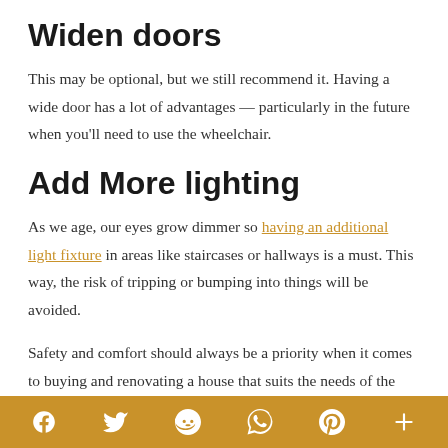Widen doors
This may be optional, but we still recommend it. Having a wide door has a lot of advantages — particularly in the future when you'll need to use the wheelchair.
Add More lighting
As we age, our eyes grow dimmer so having an additional light fixture in areas like staircases or hallways is a must. This way, the risk of tripping or bumping into things will be avoided.
Safety and comfort should always be a priority when it comes to buying and renovating a house that suits the needs of the
f  twitter  reddit  whatsapp  pinterest  +